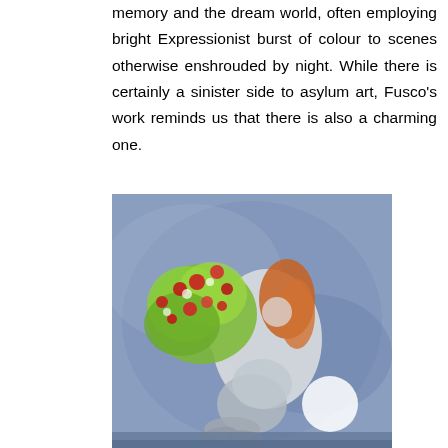memory and the dream world, often employing bright Expressionist burst of colour to scenes otherwise enshrouded by night. While there is certainly a sinister side to asylum art, Fusco's work reminds us that there is also a charming one.
[Figure (illustration): A painting depicting a mermaid-like figure with long orange hair, holding a large bouquet of green and red flowers, floating against a blue-grey background with a white circular moon in the lower right.]